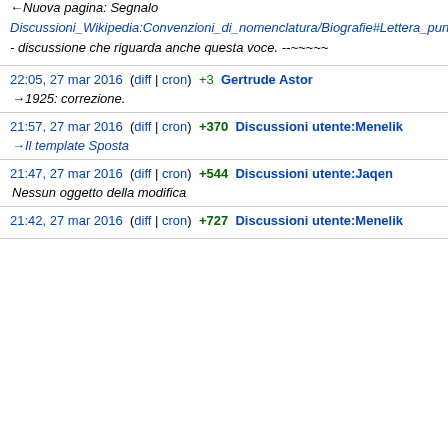←Nuova pagina: Segnalo Discussioni_Wikipedia:Convenzioni_di_nomenclatura/Biografie#Lettera_puntata_e_disambigua_Jr. - discussione che riguarda anche questa voce. --~~~~~
22:05, 27 mar 2016 (diff | cron) +3 Gertrude Astor
→1925: correzione.
21:57, 27 mar 2016 (diff | cron) +370 Discussioni utente:Menelik
→Il template Sposta
21:47, 27 mar 2016 (diff | cron) +544 Discussioni utente:Jaqen
Nessun oggetto della modifica
21:42, 27 mar 2016 (diff | cron) +727 Discussioni utente:Menelik